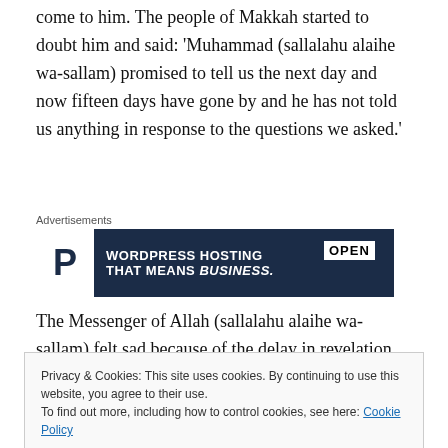come to him. The people of Makkah started to doubt him and said: 'Muhammad (sallalahu alaihe wa-sallam) promised to tell us the next day and now fifteen days have gone by and he has not told us anything in response to the questions we asked.'
[Figure (other): Advertisement banner for WordPress Hosting with text 'WORDPRESS HOSTING THAT MEANS BUSINESS.' on dark blue background with Open sign image]
The Messenger of Allah (sallalahu alaihe wa-sallam) felt sad because of the delay in revelation and was grieved by
Privacy & Cookies: This site uses cookies. By continuing to use this website, you agree to their use.
To find out more, including how to control cookies, see here: Cookie Policy
etiquette when determining to do something in the future